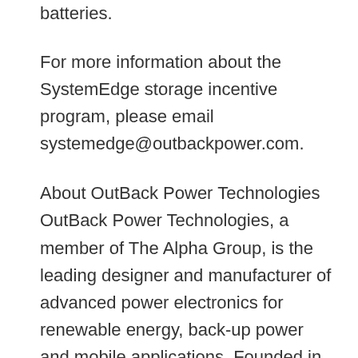batteries.
For more information about the SystemEdge storage incentive program, please email systemedge@outbackpower.com.
About OutBack Power Technologies OutBack Power Technologies, a member of The Alpha Group, is the leading designer and manufacturer of advanced power electronics for renewable energy, back-up power and mobile applications. Founded in 2001 to pioneer power conversion technologies considered de facto standards today, and with an emphasis on product performance and reliability, OutBack has established itself as the product of choice in harsh